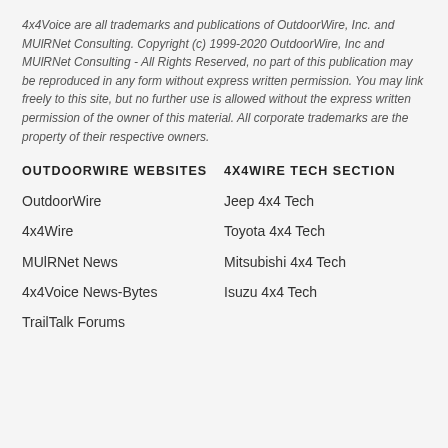4x4Voice are all trademarks and publications of OutdoorWire, Inc. and MUlRNet Consulting. Copyright (c) 1999-2020 OutdoorWire, Inc and MUlRNet Consulting - All Rights Reserved, no part of this publication may be reproduced in any form without express written permission. You may link freely to this site, but no further use is allowed without the express written permission of the owner of this material. All corporate trademarks are the property of their respective owners.
OUTDOORWIRE WEBSITES
4X4WIRE TECH SECTION
OutdoorWire
Jeep 4x4 Tech
4x4Wire
Toyota 4x4 Tech
MUlRNet News
Mitsubishi 4x4 Tech
4x4Voice News-Bytes
Isuzu 4x4 Tech
TrailTalk Forums